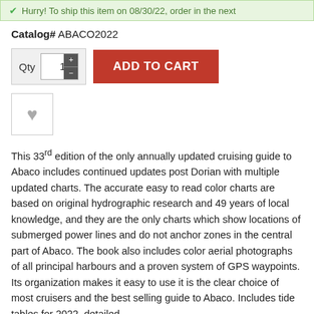Hurry! To ship this item on 08/30/22, order in the next
Catalog# ABACO2022
[Figure (other): Add to cart widget with Qty label, quantity input field showing 1 with plus/minus buttons, and a red ADD TO CART button]
[Figure (other): Wishlist heart icon inside a bordered square box]
This 33rd edition of the only annually updated cruising guide to Abaco includes continued updates post Dorian with multiple updated charts. The accurate easy to read color charts are based on original hydrographic research and 49 years of local knowledge, and they are the only charts which show locations of submerged power lines and do not anchor zones in the central part of Abaco. The book also includes color aerial photographs of all principal harbours and a proven system of GPS waypoints. Its organization makes it easy to use it is the clear choice of most cruisers and the best selling guide to Abaco. Includes tide tables for 2022, detailed